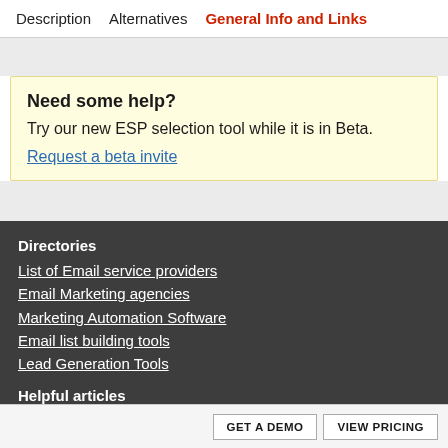Description   Alternatives   General Info and Links
Need some help?
Try our new ESP selection tool while it is in Beta.
Request a beta invite
Directories
List of Email service providers
Email Marketing agencies
Marketing Automation Software
Email list building tools
Lead Generation Tools
Helpful articles
Email marketing definitions
Gross Profit Calculator
GET A DEMO   VIEW PRICING